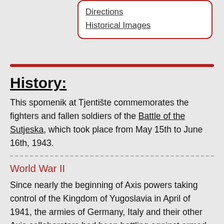Directions
Historical Images
History:
This spomenik at Tjentište commemorates the fighters and fallen soldiers of the Battle of the Sutjeska, which took place from May 15th to June 16th, 1943.
World War II
Since nearly the beginning of Axis powers taking control of the Kingdom of Yugoslavia in April of 1941, the armies of Germany, Italy and their other Axis collaborators had been battling against armed uprisings of local resistance forces, most notably Josip Tito's communist Partisan Army. As the Partisans in large part relied on guerilla tactics and unconventional warfare, they